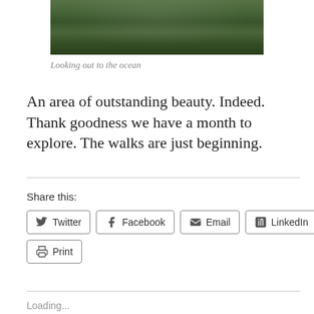[Figure (photo): Aerial view of rolling green fields and hedgerows looking out to the ocean, with dark tree lines dividing the landscape.]
Looking out to the ocean
An area of outstanding beauty. Indeed. Thank goodness we have a month to explore. The walks are just beginning.
Share this:
Twitter
Facebook
Email
LinkedIn
Print
Loading...